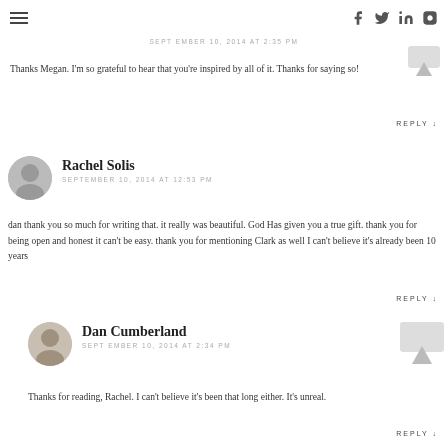Navigation bar with hamburger menu and social icons (Facebook, Twitter, LinkedIn, Instagram)
SEPTEMBER 10, 2014 AT 2:35 PM
Thanks Megan. I'm so grateful to hear that you're inspired by all of it. Thanks for saying so!
REPLY ↓
Rachel Solis
SEPTEMBER 10, 2014 AT 12:53 PM
dan thank you so much for writing that. it really was beautiful. God Has given you a true gift. thank you for being open and honest it can't be easy. thank you for mentioning Clark as well I can't believe it's already been 10 years
REPLY ↓
Dan Cumberland
SEPTEMBER 10, 2014 AT 2:34 PM
Thanks for reading, Rachel. I can't believe it's been that long either. It's unreal.
REPLY ↓